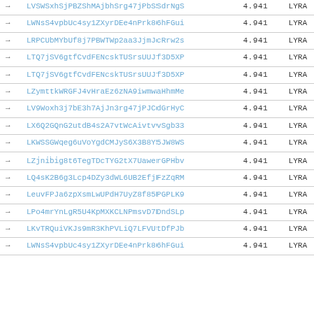|  | Address | Amount | Currency |
| --- | --- | --- | --- |
| → | LVSWSxhSjPBZShMAjbhSrg47jPbSSdrNgS | 4.941 | LYRA |
| → | LWNsS4vpbUc4sy1ZXyrDEe4nPrk86hFGui | 4.941 | LYRA |
| → | LRPCUbMYbUf8j7PBWTWp2aa3JjmJcRrw2s | 4.941 | LYRA |
| → | LTQ7jSV6gtfCvdFENcskTUSrsUUJf3D5XP | 4.941 | LYRA |
| → | LTQ7jSV6gtfCvdFENcskTUSrsUUJf3D5XP | 4.941 | LYRA |
| → | LZymttkWRGFJ4vHraEz6zNA9iwmwaHhmMe | 4.941 | LYRA |
| → | LV9Woxh3j7bE3h7AjJn3rg47jPJCdGrHyC | 4.941 | LYRA |
| → | LX6Q2GQnG2utdB4s2A7vtWcAivtvvSgb33 | 4.941 | LYRA |
| → | LKWSSGWqeg6uVoYgdCMJyS6X3B8Y5JW8WS | 4.941 | LYRA |
| → | LZjnibig8t6TegTDcTYG2tX7UawerGPHbv | 4.941 | LYRA |
| → | LQ4sK2B6g3Lcp4DZy3dWL6UB2EfjFzZqRM | 4.941 | LYRA |
| → | LeuvFPJa6zpXsmLwUPdH7UyZ8f85PGPLK9 | 4.941 | LYRA |
| → | LPo4mrYnLgR5U4KpMXKCLNPmsvD7DndSLp | 4.941 | LYRA |
| → | LKvTRQuiVKJs9mR3KhPVLiQ7LFVUtDfPJb | 4.941 | LYRA |
| → | LWNsS4vpbUc4sy1ZXyrDEe4nPrk86hFGui | 4.941 | LYRA |